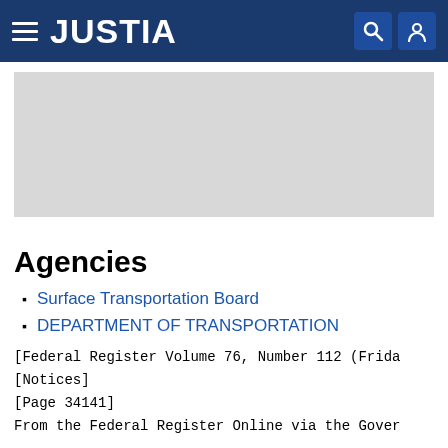JUSTIA
[Figure (other): Gray advertisement banner placeholder]
Agencies
Surface Transportation Board
DEPARTMENT OF TRANSPORTATION
[Federal Register Volume 76, Number 112 (Frida
[Notices]
[Page 34141]
From the Federal Register Online via the Gover